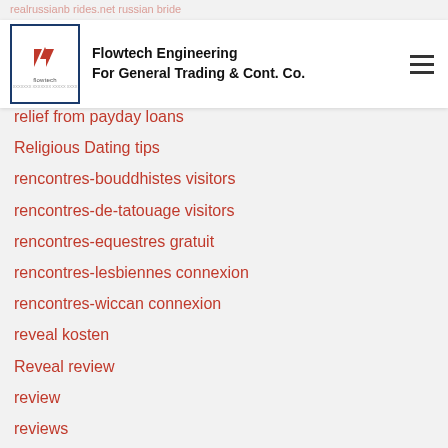Flowtech Engineering For General Trading & Cont. Co.
relief from payday loans
Religious Dating tips
rencontres-bouddhistes visitors
rencontres-de-tatouage visitors
rencontres-equestres gratuit
rencontres-lesbiennes connexion
rencontres-wiccan connexion
reveal kosten
Reveal review
review
reviews